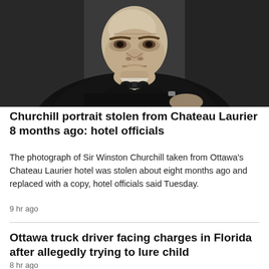[Figure (photo): Black and white portrait photograph of Sir Winston Churchill, an elderly man in a dark suit and bow tie, looking intensely at the camera, seated, with a serious expression.]
Churchill portrait stolen from Chateau Laurier 8 months ago: hotel officials
The photograph of Sir Winston Churchill taken from Ottawa's Chateau Laurier hotel was stolen about eight months ago and replaced with a copy, hotel officials said Tuesday.
9 hr ago
Ottawa truck driver facing charges in Florida after allegedly trying to lure child
8 hr ago